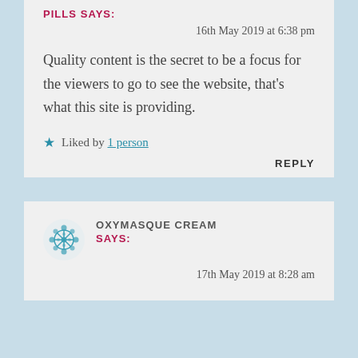PILLS SAYS:
16th May 2019 at 6:38 pm
Quality content is the secret to be a focus for the viewers to go to see the website, that's what this site is providing.
★ Liked by 1 person
REPLY
OXYMASQUE CREAM SAYS:
17th May 2019 at 8:28 am